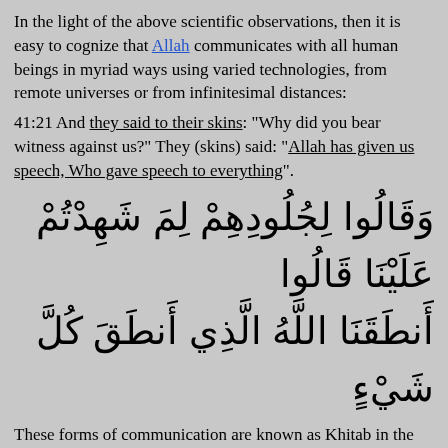In the light of the above scientific observations, then it is easy to cognize that Allah communicates with all human beings in myriad ways using varied technologies, from remote universes or from infinitesimal distances:
41:21 And they said to their skins: "Why did you bear witness against us?" They (skins) said: "Allah has given us speech, Who gave speech to everything".
[Figure (other): Arabic Quranic verse text: وَقَالُوا لِجُلُودِهِمْ لِمَ شَهِدْتُمْ عَلَيْنَا قَالُوا أَنطَقَنَا اللَّهُ الَّذِي أَنطَقَ كُلَّ شَيْءٍ]
These forms of communication are known as Khitab in the language of the Arab and its switching modalities called Iltifat.
Note: For a single cell in any living organism's body to activate a task or deactivate a task requires complex chain of molecular signals with unimaginable levels of technological complexity. Please do see the videos for molecular signals Her1 and Her2. That is one cell, imagine all cells in your body and the bodies of all human beings on the planet. There are uncountable number of molecular signals that comprise the human society. Tell me by drawing parallels, what complexities are required for the Divine